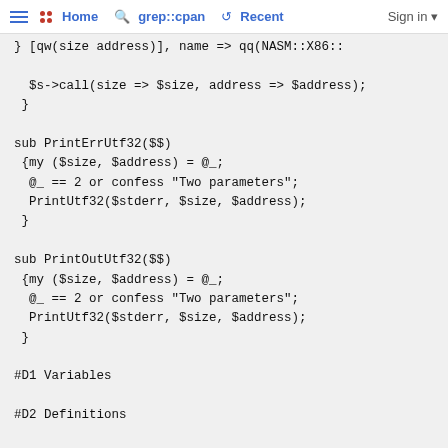≡ •• Home 🔍 grep::cpan 🕐 Recent Sign in ▾
} [qw(size address)], name => qq(NASM::X86::
  $s->call(size => $size, address => $address);
 }

sub PrintErrUtf32($$)
 {my ($size, $address) = @_;
  @_ == 2 or confess "Two parameters";
  PrintUtf32($stderr, $size, $address);
 }

sub PrintOutUtf32($$)
 {my ($size, $address) = @_;
  @_ == 2 or confess "Two parameters";
  PrintUtf32($stderr, $size, $address);
 }

#D1 Variables

#D2 Definitions

  b Variable($ $%)